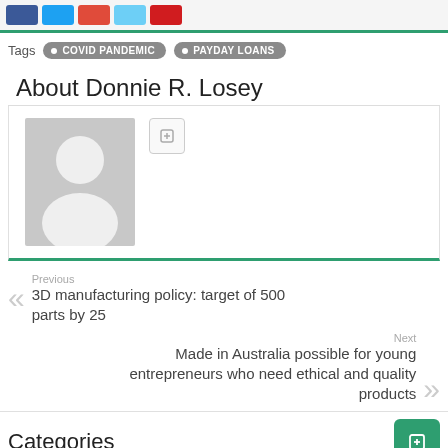[Figure (other): Social share buttons row: blue, light blue, red/orange, light teal, red buttons]
Tags  • COVID PANDEMIC  • PAYDAY LOANS
About Donnie R. Losey
[Figure (photo): Gray placeholder avatar image with silhouette of a person, and a small social icon button beside it]
Previous
3D manufacturing policy: target of 500 parts by 25
Next
Made in Australia possible for young entrepreneurs who need ethical and quality products
Categories